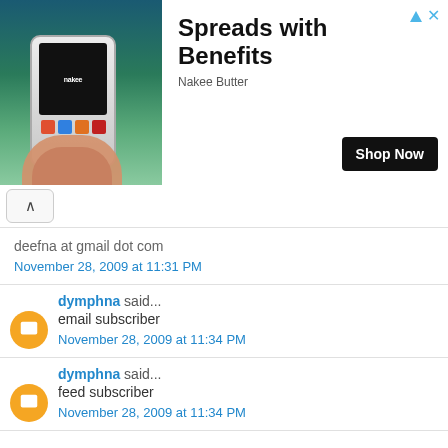[Figure (infographic): Advertisement banner for Nakee Butter with product image on left showing a phone being held in front of a waterfall, and text 'Spreads with Benefits' with 'Shop Now' button on right]
deefna at gmail dot com
November 28, 2009 at 11:31 PM
dymphna said...
email subscriber
November 28, 2009 at 11:34 PM
dymphna said...
feed subscriber
November 28, 2009 at 11:34 PM